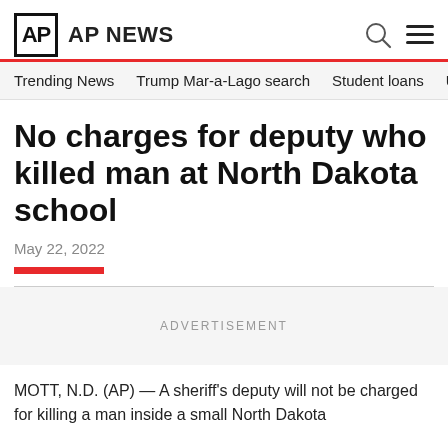AP NEWS
Trending News   Trump Mar-a-Lago search   Student loans   U.S.
No charges for deputy who killed man at North Dakota school
May 22, 2022
ADVERTISEMENT
MOTT, N.D. (AP) — A sheriff's deputy will not be charged for killing a man inside a small North Dakota